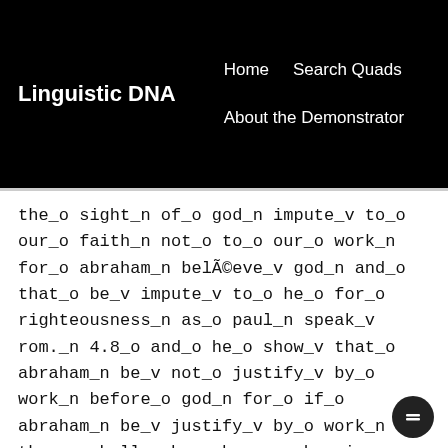Linguistic DNA
Home   Search Quads   About the Demonstrator
the_o sight_n of_o god_n impute_v to_o our_o faith_n not_o to_o our_o work_n for_o abraham_n belÃ©eve_v god_n and_o that_o be_v impute_v to_o he_o for_o righteousness_n as_o paul_n speak_v rom._n 4.8_o and_o he_o show_v that_o abraham_n be_v not_o justify_v by_o work_n before_o god_n for_o if_o abraham_n be_v justify_v by_o work_n than_o shall_v he_o have_v wherein_o to_o glory_v but_o not_o before_o god_n and_o because_o he_o have_v not_o wherein_o to_o glory_v before_o god_n therefore_o he_o be_v not_o justify_v in_o the_o sight_n of_o god_n i_o grant_v that_o saint_n james_n in_o his_o